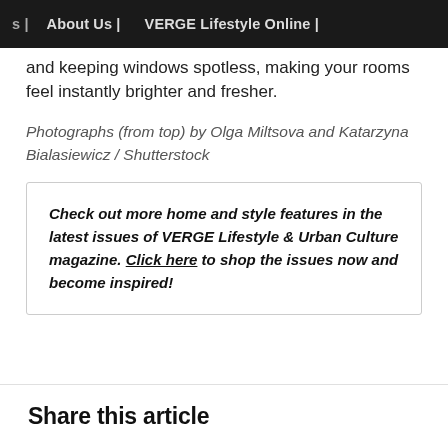s | About Us | VERGE Lifestyle Online |
and keeping windows spotless, making your rooms feel instantly brighter and fresher.
Photographs (from top) by Olga Miltsova and Katarzyna Bialasiewicz / Shutterstock
Check out more home and style features in the latest issues of VERGE Lifestyle & Urban Culture magazine. Click here to shop the issues now and become inspired!
Share this article